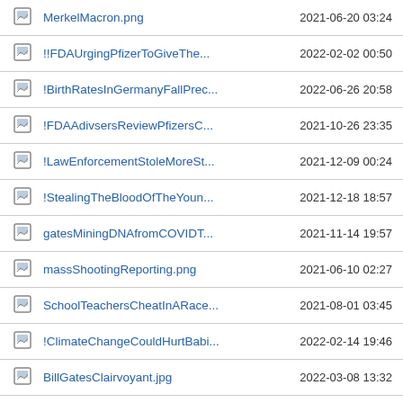|  | Name | Date |
| --- | --- | --- |
| [img] | MerkelMacron.png | 2021-06-20 03:24 |
| [img] | !!FDAUrgingPfizerToGiveThe... | 2022-02-02 00:50 |
| [img] | !BirthRatesInGermanyFallPrec... | 2022-06-26 20:58 |
| [img] | !FDAAdivsersReviewPfizersC... | 2021-10-26 23:35 |
| [img] | !LawEnforcementStoleMoreSt... | 2021-12-09 00:24 |
| [img] | !StealingTheBloodOfTheYoun... | 2021-12-18 18:57 |
| [img] | gatesMiningDNAfromCOVIDT... | 2021-11-14 19:57 |
| [img] | massShootingReporting.png | 2021-06-10 02:27 |
| [img] | SchoolTeachersCheatInARace... | 2021-08-01 03:45 |
| [img] | !ClimateChangeCouldHurtBabi... | 2022-02-14 19:46 |
| [img] | BillGatesClairvoyant.jpg | 2022-03-08 13:32 |
| [img] | SARSCoV2IsolatedBySoftwar... | 2021-06-20 03:06 |
| [img] | !BookBurningForEducationalP... | 2021-09-12 17:59 |